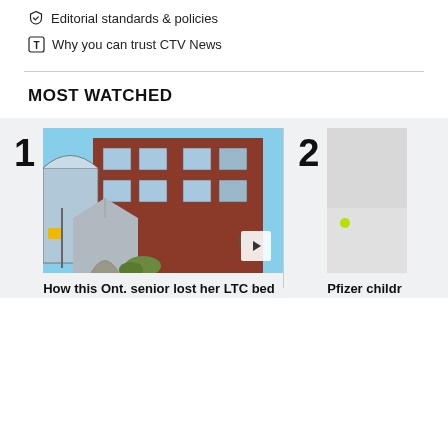Editorial standards & policies
Why you can trust CTV News
MOST WATCHED
[Figure (photo): Thumbnail of a brick building with windows and rooftop, play button overlay. Ranked #1 in Most Watched.]
How this Ont. senior lost her LTC bed
[Figure (photo): Partial thumbnail of a blurred image with a green dot, partially cut off. Ranked #2 in Most Watched.]
Pfizer childr